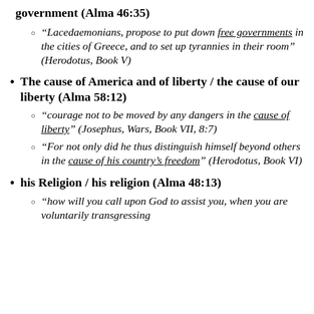government (Alma 46:35)
“Lacedaemonians, propose to put down free governments in the cities of Greece, and to set up tyrannies in their room” (Herodotus, Book V)
The cause of America and of liberty / the cause of our liberty (Alma 58:12)
“courage not to be moved by any dangers in the cause of liberty” (Josephus, Wars, Book VII, 8:7)
“For not only did he thus distinguish himself beyond others in the cause of his country’s freedom” (Herodotus, Book VI)
his Religion / his religion (Alma 48:13)
“how will you call upon God to assist you, when you are voluntarily transgressing